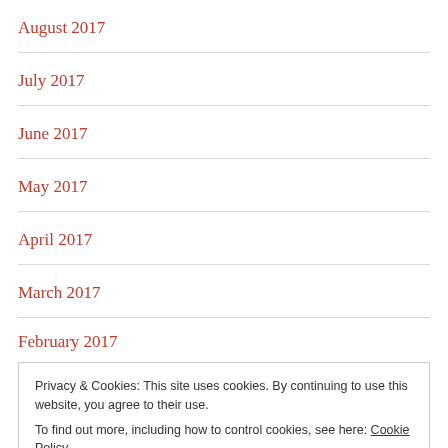August 2017
July 2017
June 2017
May 2017
April 2017
March 2017
February 2017
Privacy & Cookies: This site uses cookies. By continuing to use this website, you agree to their use.
To find out more, including how to control cookies, see here: Cookie Policy
November 2016